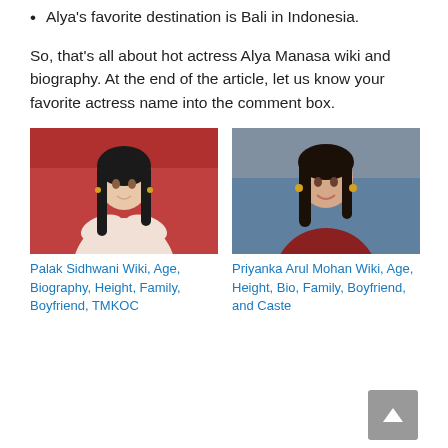Alya's favorite destination is Bali in Indonesia.
So, that's all about hot actress Alya Manasa wiki and biography. At the end of the article, let us know your favorite actress name into the comment box.
[Figure (photo): Photo of Palak Sidhwani in white outfit against red background]
Palak Sidhwani Wiki, Age, Biography, Height, Family, Boyfriend, TMKOC
[Figure (photo): Photo of Priyanka Arul Mohan smiling, wearing a dark red outfit]
Priyanka Arul Mohan Wiki, Age, Height, Bio, Family, Boyfriend, and Caste